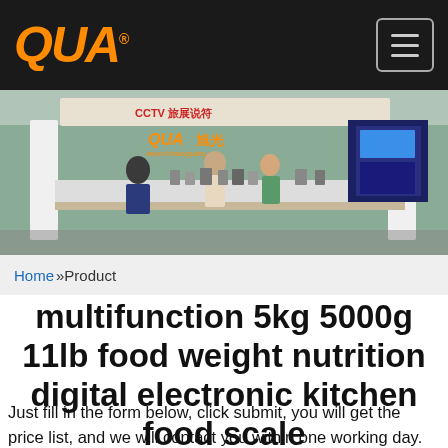QUA® [logo] — navigation menu button
[Figure (photo): Trade show / exhibition booth photo showing 'QUA 旭光' branded display with CCTV signage, various digital scales and electronic equipment on display tables, with visitors and booth staff present]
Home »Product
multifunction 5kg 5000g 11lb food weight nutrition digital electronic kitchen food scale
Just fill in the form below, click submit, you will get the price list, and we will contact you within one working day. Please also feel free to Contact Us via email or phone. (* is required).